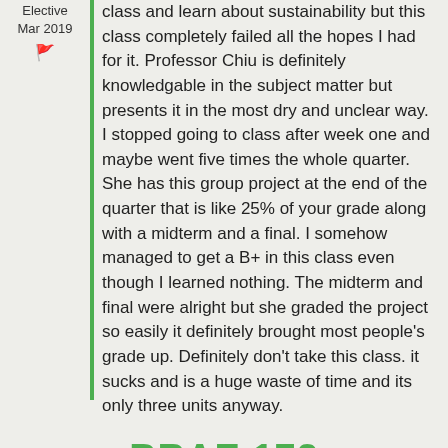Elective
Mar 2019
class and learn about sustainability but this class completely failed all the hopes I had for it. Professor Chiu is definitely knowledgable in the subject matter but presents it in the most dry and unclear way. I stopped going to class after week one and maybe went five times the whole quarter. She has this group project at the end of the quarter that is like 25% of your grade along with a midterm and a final. I somehow managed to get a B+ in this class even though I learned nothing. The midterm and final were alright but she graded the project so easily it definitely brought most people's grade up. Definitely don't take this class. it sucks and is a huge waste of time and its only three units anyway.
BRAE 172
Senior
I learned that if I were to take up hunting, I